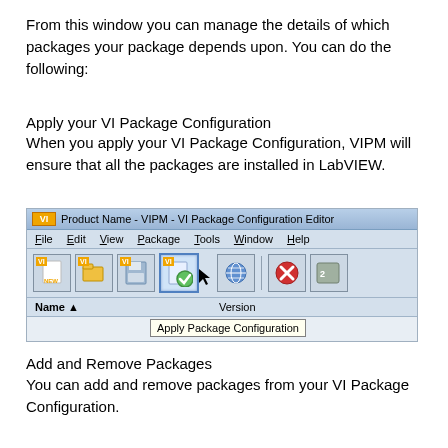From this window you can manage the details of which packages your package depends upon.  You can do the following:
Apply your VI Package Configuration
When you apply your VI Package Configuration, VIPM will ensure that all the packages are installed in LabVIEW.
[Figure (screenshot): Screenshot of VIPM - VI Package Configuration Editor window showing the toolbar with 'Apply Package Configuration' button tooltip visible. Toolbar icons include new, open, save, apply (highlighted), and other buttons. Column headers show Name and Version.]
Add and Remove Packages
You can add and remove packages from your VI Package Configuration.